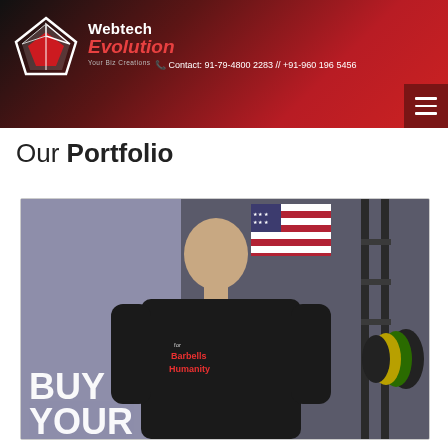[Figure (logo): Webtech Evolution logo with diamond/cube icon in white and red]
Webtech Evolution — Your Biz Creations — Contact: 91-79-4800 2283 // +91-960 196 5456
Our Portfolio
[Figure (photo): Man in black 'Barbells for Humanity' t-shirt lifting weights in a gym with American flag in background. Text overlay reads BUY YOUR]